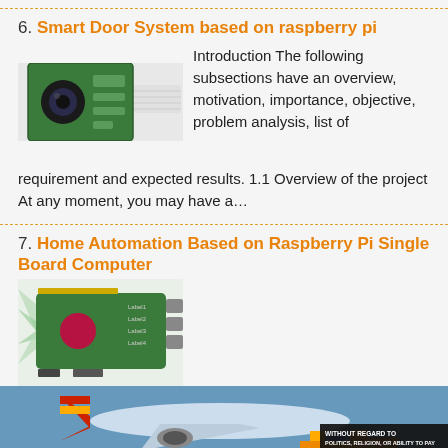6. Smart Door System based on raspberry pi
[Figure (photo): Photo of a Raspberry Pi camera module with ribbon cable attached to a green PCB board]
Introduction The following subsections have an overview, motivation, importance, objective, problem analysis, list of requirement and expected results. 1.1 Overview of the project At any moment, you may have a…
7. Home Automation Based on Raspberry Pi Single Board Computer
[Figure (photo): Diagram of Raspberry Pi single board computer with labeled components and connection ports highlighted]
Chapter 1 : Introduction and problem statement : The following subsections have an overview, short
[Figure (photo): Advertisement image showing cargo being loaded onto a Southwest Airlines airplane with text 'WITHOUT REGARD TO POLITICS, RELIGION, OR ABILITY TO PAY']